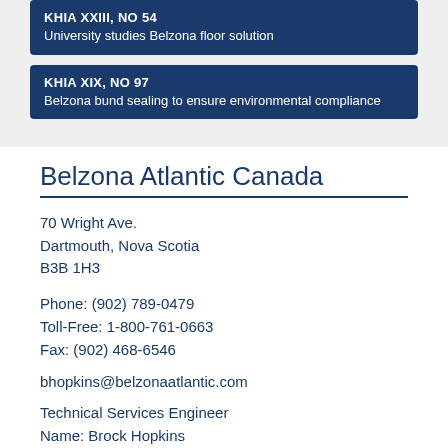KHIA XXIII, NO 54
University studies Belzona floor solution
KHIA XIX, NO 97
Belzona bund sealing to ensure environmental compliance
Belzona Atlantic Canada
70 Wright Ave.
Dartmouth, Nova Scotia
B3B 1H3
Phone: (902) 789-0479
Toll-Free: 1-800-761-0663
Fax: (902) 468-6546
bhopkins@belzonaatlantic.com
Technical Services Engineer
Name: Brock Hopkins